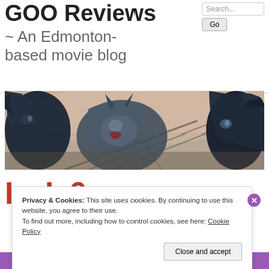GOO Reviews
~ An Edmonton-based movie blog
[Figure (photo): Wide banner image showing fantasy/sci-fi monster creatures fighting in a dramatic scene with a bridge and sky in the background]
Privacy & Cookies: This site uses cookies. By continuing to use this website, you agree to their use. To find out more, including how to control cookies, see here: Cookie Policy
Close and accept